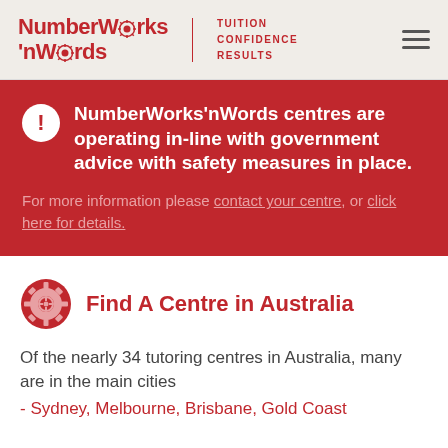[Figure (logo): NumberWorks'nWords logo with gear icon, tagline TUITION CONFIDENCE RESULTS, and hamburger menu icon]
NumberWorks'nWords centres are operating in-line with government advice with safety measures in place. For more information please contact your centre, or click here for details.
Find A Centre in Australia
Of the nearly 34 tutoring centres in Australia, many are in the main cities
- Sydney, Melbourne, Brisbane, Gold Coast